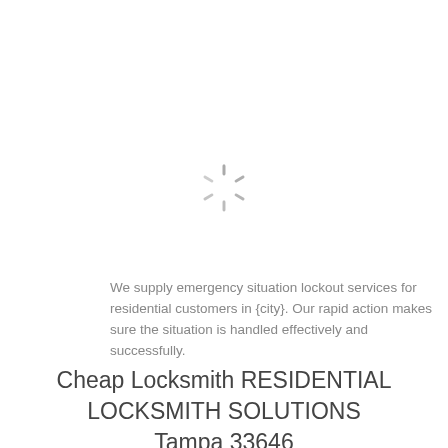[Figure (other): Spinning loading indicator icon (sunburst/radial lines pattern)]
We supply emergency situation lockout services for residential customers in {city}. Our rapid action makes sure the situation is handled effectively and successfully.
Cheap Locksmith RESIDENTIAL LOCKSMITH SOLUTIONS Tampa 33646